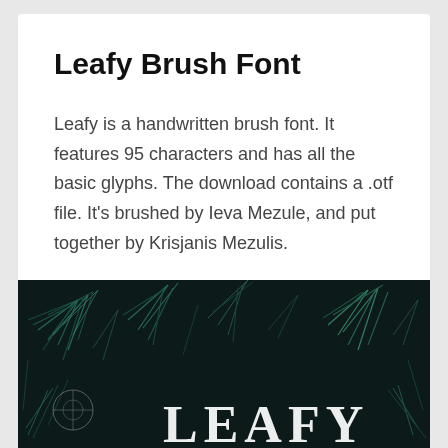Leafy Brush Font
Leafy is a handwritten brush font. It features 95 characters and has all the basic glyphs. The download contains a .otf file. It's brushed by Ieva Mezule, and put together by Krisjanis Mezulis.
View Leafy
[Figure (photo): Dark background image with teal/green pine branch leaves and white handwritten-style text spelling 'LEAFY', partially visible at the bottom of the page.]